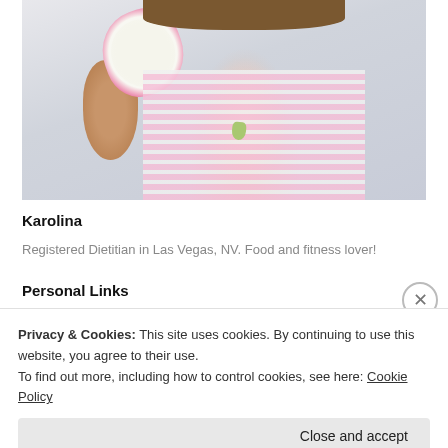[Figure (photo): A person holding up a dragon fruit (pitaya), wearing a pink and white striped sleeveless top and a green pendant necklace, photographed against a light background.]
Karolina
Registered Dietitian in Las Vegas, NV. Food and fitness lover!
Personal Links
Privacy & Cookies: This site uses cookies. By continuing to use this website, you agree to their use.
To find out more, including how to control cookies, see here: Cookie Policy
Close and accept